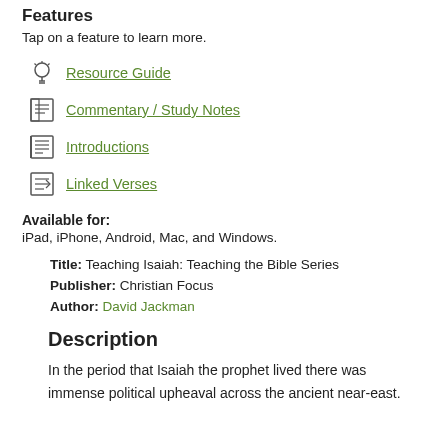Features
Tap on a feature to learn more.
Resource Guide
Commentary / Study Notes
Introductions
Linked Verses
Available for: iPad, iPhone, Android, Mac, and Windows.
Title: Teaching Isaiah: Teaching the Bible Series Publisher: Christian Focus Author: David Jackman
Description
In the period that Isaiah the prophet lived there was immense political upheaval across the ancient near-east.